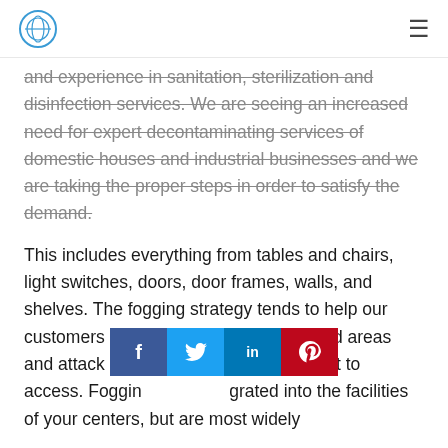[Logo] [Hamburger menu]
and experience in sanitation, sterilization and disinfection services. We are seeing an increased need for expert decontaminating services of domestic houses and industrial businesses and we are taking the proper steps in order to satisfy the demand.

This includes everything from tables and chairs, light switches, doors, door frames, walls, and shelves. The fogging strategy tends to help our customers cover large or highly trafficked areas and attack certain places that are difficult to access. Fogging [social share bar] grated into the facilities of your centers, but are most widely
[Figure (infographic): Social share bar with four buttons: Facebook (blue), Twitter (light blue), LinkedIn (dark blue), Pinterest (red)]